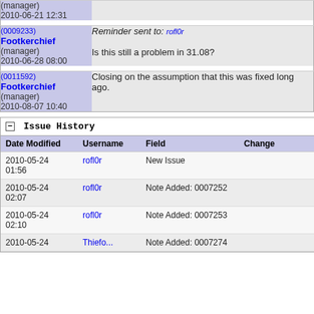| Author | Comment |
| --- | --- |
| (manager)
2010-06-21 12:31 |  |
| (0009233) Footkerchief (manager) 2010-06-28 08:00 | Reminder sent to: rofl0r
Is this still a problem in 31.08? |
| (0011592) Footkerchief (manager) 2010-08-07 10:40 | Closing on the assumption that this was fixed long ago. |
Issue History
| Date Modified | Username | Field | Change |
| --- | --- | --- | --- |
| 2010-05-24 01:56 | rofl0r | New Issue |  |
| 2010-05-24 02:07 | rofl0r | Note Added: 0007252 |  |
| 2010-05-24 02:10 | rofl0r | Note Added: 0007253 |  |
| 2010-05-24 | Thief... | Note Added: 0007274 |  |